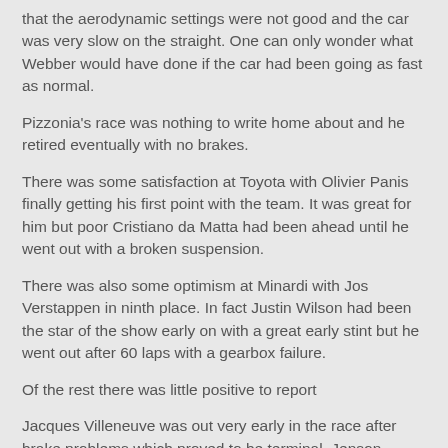that the aerodynamic settings were not good and the car was very slow on the straight. One can only wonder what Webber would have done if the car had been going as fast as normal.
Pizzonia's race was nothing to write home about and he retired eventually with no brakes.
There was some satisfaction at Toyota with Olivier Panis finally getting his first point with the team. It was great for him but poor Cristiano da Matta had been ahead until he went out with a broken suspension.
There was also some optimism at Minardi with Jos Verstappen in ninth place. In fact Justin Wilson had been the star of the show early on with a great early stint but he went out after 60 laps with a gearbox failure.
Of the rest there was little positive to report
Jacques Villeneuve was out very early in the race after brake problems which proved to be terminal. Jenson Button lasted longer but retired from the midfield with a gearbox failure.
Sauber had a horrible day with Frentzen's electronic